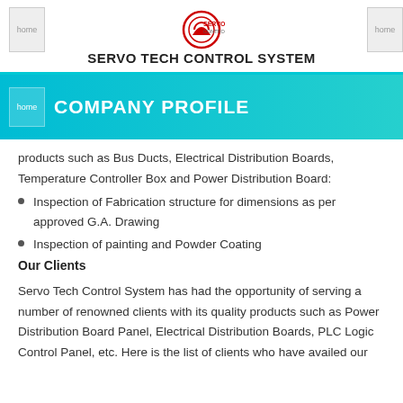SERVO TECH CONTROL SYSTEM
COMPANY PROFILE
products such as Bus Ducts, Electrical Distribution Boards, Temperature Controller Box and Power Distribution Board:
Inspection of Fabrication structure for dimensions as per approved G.A. Drawing
Inspection of painting and Powder Coating
Our Clients
Servo Tech Control System has had the opportunity of serving a number of renowned clients with its quality products such as Power Distribution Board Panel, Electrical Distribution Boards, PLC Logic Control Panel, etc. Here is the list of clients who have availed our